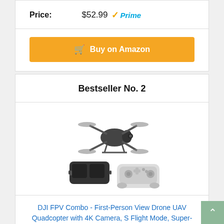Price: $52.99 Prime
Buy on Amazon
Bestseller No. 2
[Figure (photo): DJI FPV Combo drone product image showing drone quadcopter, FPV goggles, and controller in black and white/gray]
DJI FPV Combo - First-Person View Drone UAV Quadcopter with 4K Camera, S Flight Mode, Super-Wide...